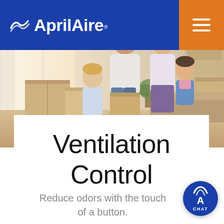AprilAire
[Figure (photo): Family of four sitting together among moving boxes in a bright living room, smiling and interacting]
Ventilation Control
Reduce odors with the touch of a button.